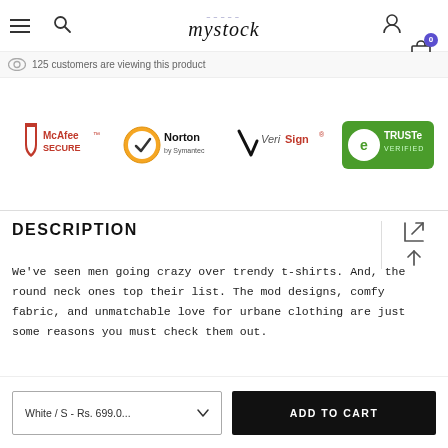mystock — navigation bar with menu, search, account, cart (0)
125 customers are viewing this product
[Figure (logo): Security trust badges: McAfee SECURE, Norton by Symantec, VeriSign, TRUSTe Verified]
DESCRIPTION
We've seen men going crazy over trendy t-shirts. And, the round neck ones top their list. The mod designs, comfy fabric, and unmatchable love for urbane clothing are just some reasons you must check them out.
White / S - Rs. 699.0...
ADD TO CART